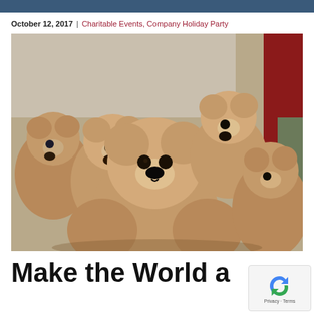October 12, 2017 | Charitable Events, Company Holiday Party
[Figure (photo): Multiple large brown teddy bears piled together, viewed from close up. The bears face forward, with black noses and eyes visible. A person in a red shirt is partially visible in the background on the right.]
Make the World a